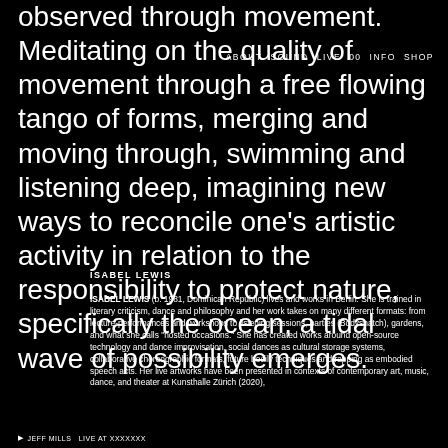ABOUT  SOUND  LIVE  00  INFO  SHOP
observed through movement. Meditating on the quality of movement through a free flowing tango of forms, merging and moving through, swimming and listening deep, imagining new ways to reconcile one's artistic activity in relation to the responsibility to protect nature, specifically the ocean, a tidal wave of possibility emerges.
ISABEL LEWIS
ISABEL LEWIS (b. 1981, Dominican Republic) lives and works in Berlin. She is trained in literary criticism, dance and philosophy and her work takes on many different formats: from lecture-performances and workshops to listening sessions, parties (Bodysnatch), gardens, and what she calls "hosted occasions." She has created works around open-source technology and dance improvisation, social dances as cultural storage systems, collaborative choreographic formats, future bodily techniques and rapping as embodied speech acts. Her live artworks have been presented in contexts of contemporary art, music, dance, and theater at Kunsthalle Zürich (2020),
JEFF MILLS  LIVE AT XXXXXXX